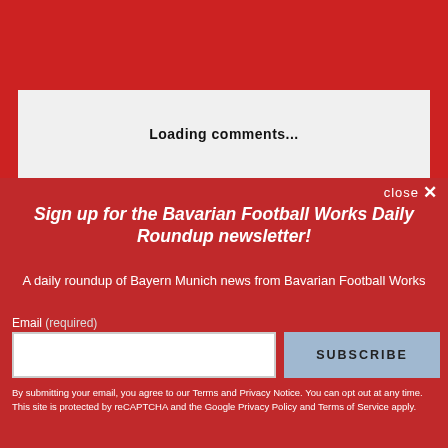Loading comments...
close ×
Sign up for the Bavarian Football Works Daily Roundup newsletter!
A daily roundup of Bayern Munich news from Bavarian Football Works
Email (required)
SUBSCRIBE
By submitting your email, you agree to our Terms and Privacy Notice. You can opt out at any time. This site is protected by reCAPTCHA and the Google Privacy Policy and Terms of Service apply.